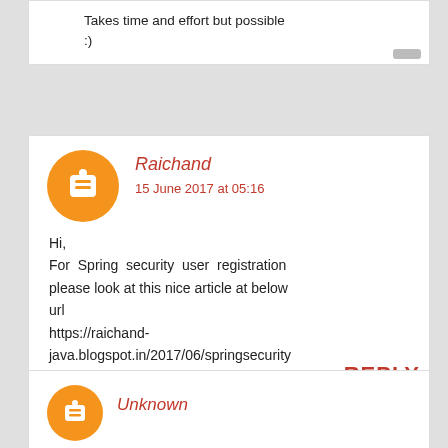Takes time and effort but possible :)
Raichand
15 June 2017 at 05:16
Hi,
For Spring security user registration please look at this nice article at below url
https://raichand-java.blogspot.in/2017/06/springsecurity4primefaces5springdatajpa.html
REPLY
Unknown